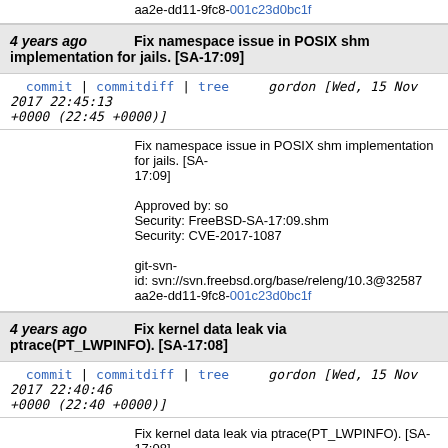aa2e-dd11-9fc8-001c23d0bc1f
4 years ago  Fix namespace issue in POSIX shm implementation for jails. [SA-17:09]
commit | commitdiff | tree   gordon [Wed, 15 Nov 2017 22:45:13 +0000 (22:45 +0000)]
Fix namespace issue in POSIX shm implementation for jails. [SA-17:09]

Approved by: so
Security: FreeBSD-SA-17:09.shm
Security: CVE-2017-1087

git-svn-id: svn://svn.freebsd.org/base/releng/10.3@32587 aa2e-dd11-9fc8-001c23d0bc1f
4 years ago  Fix kernel data leak via ptrace(PT_LWPINFO). [SA-17:08]
commit | commitdiff | tree   gordon [Wed, 15 Nov 2017 22:40:46 +0000 (22:40 +0000)]
Fix kernel data leak via ptrace(PT_LWPINFO). [SA-17:08]

Approved by: so